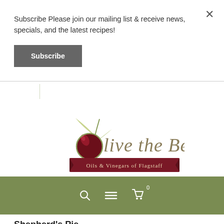Subscribe Please join our mailing list & receive news, specials, and the latest recipes!
Subscribe
[Figure (logo): Olive the Best - Oils & Vinegars of Flagstaff logo with olive branch and dark red olive]
Shepherd's Pie
by nik | Feb 23, 2021 | Main Dishes